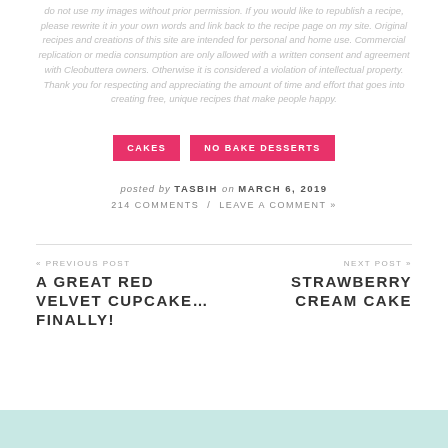do not use my images without prior permission. If you would like to republish a recipe, please rewrite it in your own words and link back to the recipe page on my site. Original recipes and creations of this site are intended for personal and home use. Commercial replication or media consumption are only allowed with a written consent and agreement with Cleobuttera owners. Otherwise it is considered a violation of intellectual property. Thank you for respecting and appreciating the amount of time and effort that goes into creating free, unique recipes that make people happy.
CAKES
NO BAKE DESSERTS
posted by TASBIH on MARCH 6, 2019
214 COMMENTS / LEAVE A COMMENT »
« PREVIOUS POST
A GREAT RED VELVET CUPCAKE…FINALLY!
NEXT POST »
STRAWBERRY CREAM CAKE